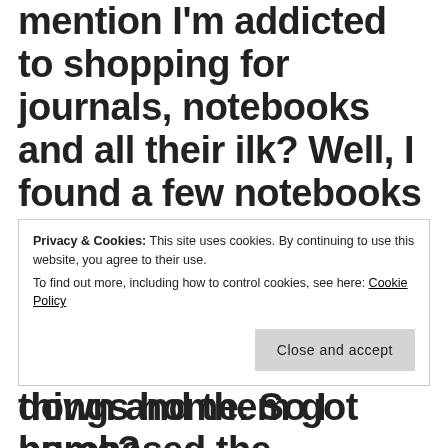mention I'm addicted to shopping for journals, notebooks and all their ilk? Well, I found a few notebooks and various other books and items I wanted and realized I'd have to lug all those things home. So I purchased the notebooks and one journal
Privacy & Cookies: This site uses cookies. By continuing to use this website, you agree to their use. To find out more, including how to control cookies, see here: Cookie Policy
Close and accept
down and them got home?